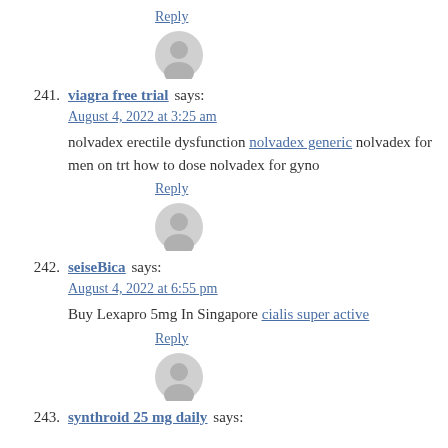Reply
[Figure (illustration): Grey avatar silhouette icon for comment 241]
241. viagra free trial says:
August 4, 2022 at 3:25 am
nolvadex erectile dysfunction nolvadex generic nolvadex for men on trt how to dose nolvadex for gyno
Reply
[Figure (illustration): Grey avatar silhouette icon for comment 242]
242. seiseBica says:
August 4, 2022 at 6:55 pm
Buy Lexapro 5mg In Singapore cialis super active
Reply
[Figure (illustration): Grey avatar silhouette icon for comment 243]
243. synthroid 25 mg daily says: